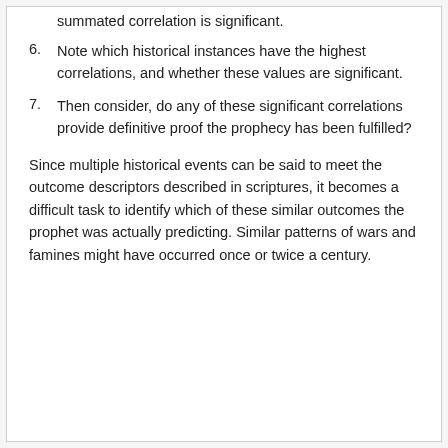summated correlation is significant.
6. Note which historical instances have the highest correlations, and whether these values are significant.
7. Then consider, do any of these significant correlations provide definitive proof the prophecy has been fulfilled?
Since multiple historical events can be said to meet the outcome descriptors described in scriptures, it becomes a difficult task to identify which of these similar outcomes the prophet was actually predicting. Similar patterns of wars and famines might have occurred once or twice a century.